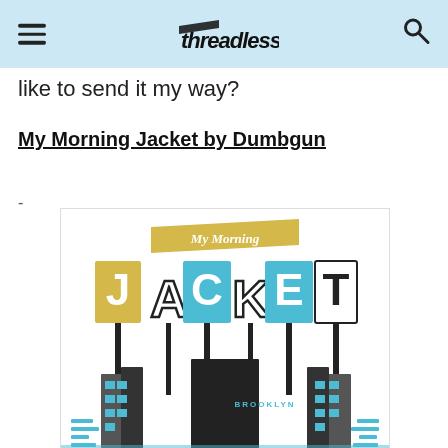Threadless
like to send it my way?
My Morning Jacket by Dumbgun
-
[Figure (illustration): Illustrated poster design for 'My Morning Jacket' showing stylized retro signage letters spelling JACKET in yellow and blue blocks on poles, with a yellow banner reading 'My Morning' at the top and a cityscape at the bottom with 'BROOKLYN' text, in a mid-century modern style using yellow, blue, black and white colors.]